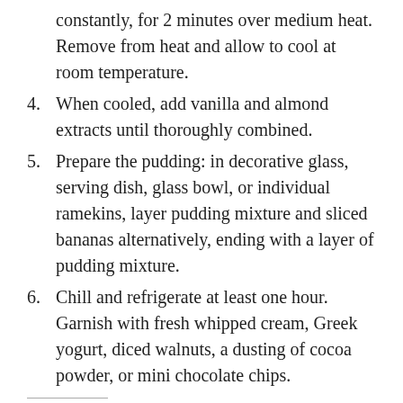constantly, for 2 minutes over medium heat. Remove from heat and allow to cool at room temperature.
4. When cooled, add vanilla and almond extracts until thoroughly combined.
5. Prepare the pudding: in decorative glass, serving dish, glass bowl, or individual ramekins, layer pudding mixture and sliced bananas alternatively, ending with a layer of pudding mixture.
6. Chill and refrigerate at least one hour. Garnish with fresh whipped cream, Greek yogurt, diced walnuts, a dusting of cocoa powder, or mini chocolate chips.
Share this: